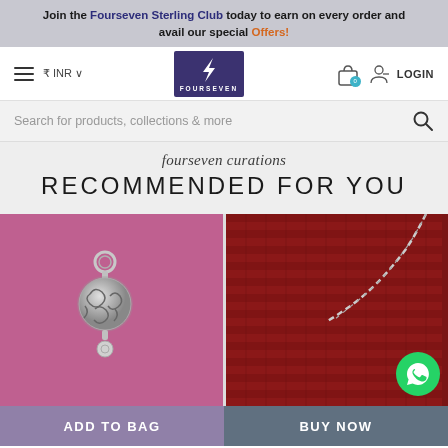Join the Fourseven Sterling Club today to earn on every order and avail our special Offers!
[Figure (logo): Fourseven brand logo with lightning bolt on dark purple/indigo background]
≡   ₹ INR ∨
LOGIN
Search for products, collections & more
fourseven curations
RECOMMENDED FOR YOU
[Figure (photo): Silver decorative charm/pendant with swirl pattern on purple background]
[Figure (photo): Silver chain necklace on red knitted textile background with WhatsApp button overlay]
ADD TO BAG
BUY NOW